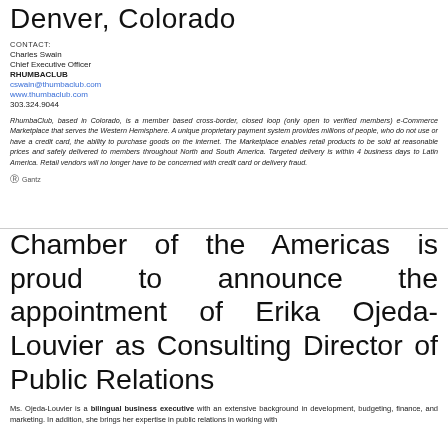Denver, Colorado
CONTACT:
Charles Swain
Chief Executive Officer
RHUMBACLUB
cswain@thumbaclub.com
www.thumbaclub.com
303.324.9044
RhumbaClub, based in Colorado, is a member based cross-border, closed loop (only open to verified members) e-Commerce Marketplace that serves the Western Hemisphere. A unique proprietary payment system provides millions of people, who do not use or have a credit card, the ability to purchase goods on the internet. The Marketplace enables retail products to be sold at reasonable prices and safely delivered to members throughout North and South America. Targeted delivery is within 4 business days to Latin America. Retail vendors will no longer have to be concerned with credit card or delivery fraud.
® Gantz
Chamber of the Americas is proud to announce the appointment of Erika Ojeda-Louvier as Consulting Director of Public Relations
Ms. Ojeda-Louvier is a bilingual business executive with an extensive background in development, budgeting, finance, and marketing. In addition, she brings her expertise in public relations in working with